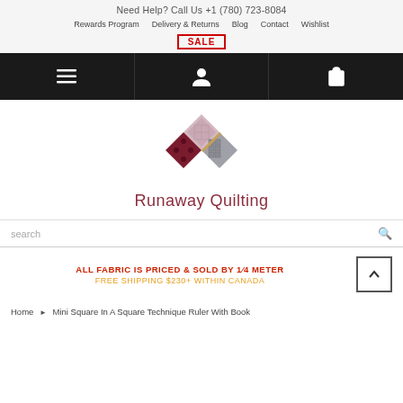Need Help? Call Us +1 (780) 723-8084
Rewards Program | Delivery & Returns | Blog | Contact | Wishlist
SALE
[Figure (logo): Runaway Quilting logo: four quilt squares arranged in a diamond pattern in dark red, burgundy, gray tones, with text 'Runaway Quilting' below in dark red]
search
ALL FABRIC IS PRICED & SOLD BY 1⁄4 METER
FREE SHIPPING $230+ WITHIN CANADA
Home ▶ Mini Square In A Square Technique Ruler With Book